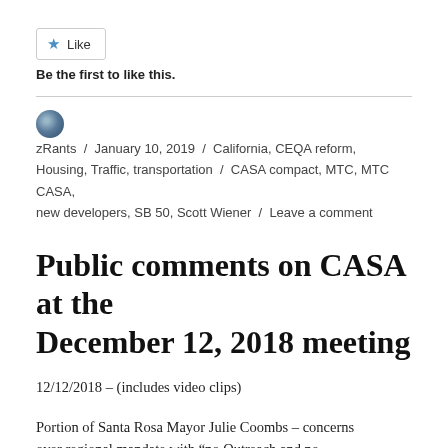[Figure (other): Like button widget with star icon and 'Like' label]
Be the first to like this.
zRants / January 10, 2019 / California, CEQA reform, Housing, Traffic, transportation / CASA compact, MTC, MTC CASA, new developers, SB 50, Scott Wiener / Leave a comment
Public comments on CASA at the December 12, 2018 meeting
12/12/2018 – (includes video clips)
Portion of Santa Rosa Mayor Julie Coombs – concerns over regional mandate with “no Outreach and no